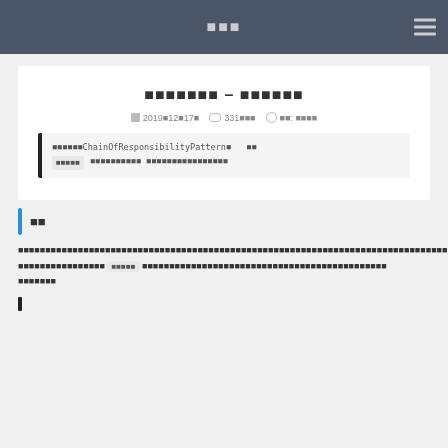■■■
■■■■■■■ – ■■■■■■
📅 2019■12■17■  👁 331■■■  ℹ ■■: ■■■■
■■■■■■ChainOfResponsibilityPattern■  ■■
■■■■■  ■■■■■■■■■■ ■■■■■■■■■■■■■■■■
■■
■■■■■■■■■■■■■■■■■■■■■■■■■■■■■■■■■■■■■■■■■■■■■■■■■■■■■■■■■■■■■■■■■ ■■■■■■■■■■■■■■■■ ■■■■■ ■■■■■■■■■■■■■■■■■■■■■■■■■■■■■■■■■■■■■■■■■■■■■■ ■■■■■■■